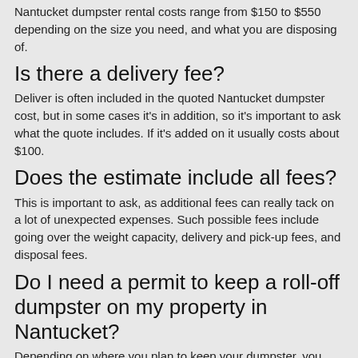Nantucket dumpster rental costs range from $150 to $550 depending on the size you need, and what you are disposing of.
Is there a delivery fee?
Deliver is often included in the quoted Nantucket dumpster cost, but in some cases it's in addition, so it's important to ask what the quote includes. If it's added on it usually costs about $100.
Does the estimate include all fees?
This is important to ask, as additional fees can really tack on a lot of unexpected expenses. Such possible fees include going over the weight capacity, delivery and pick-up fees, and disposal fees.
Do I need a permit to keep a roll-off dumpster on my property in Nantucket?
Depending on where you plan to keep your dumpster, you may need to obtain a permit from the city of Nantucket. When you obtain an estimate from local Nantucket dumpster companies they'll let you know if you need a permit or not, and if there are any fees associated with it.